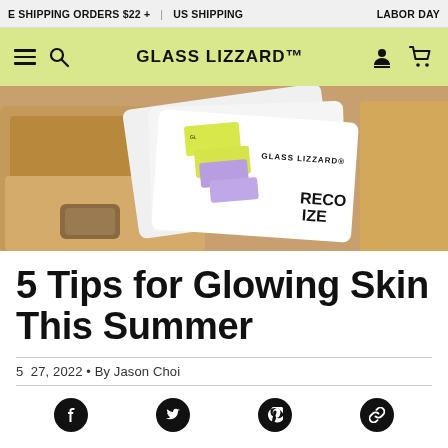E SHIPPING ORDERS $22 + | US SHIPPING | LABOR DAY
GLASS LIZZARD™
[Figure (photo): Open cardboard box containing white sheet mask packets labeled GLASS LIZZARD and RECOVER SIZE, with yellow and purple adhesive labels visible]
5 Tips for Glowing Skin This Summer
5 27, 2022 • By Jason Choi
[Figure (infographic): Social sharing icons row: Facebook, Twitter, Pinterest, Link/Copy]